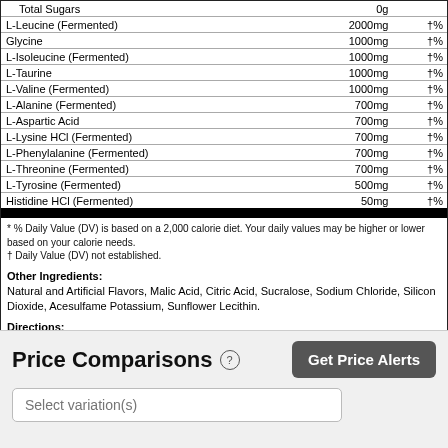| Ingredient | Amount | % DV |
| --- | --- | --- |
| Total Sugars | 0g |  |
| L-Leucine (Fermented) | 2000mg | †% |
| Glycine | 1000mg | †% |
| L-Isoleucine (Fermented) | 1000mg | †% |
| L-Taurine | 1000mg | †% |
| L-Valine (Fermented) | 1000mg | †% |
| L-Alanine (Fermented) | 700mg | †% |
| L-Aspartic Acid | 700mg | †% |
| L-Lysine HCl (Fermented) | 700mg | †% |
| L-Phenylalanine (Fermented) | 700mg | †% |
| L-Threonine (Fermented) | 700mg | †% |
| L-Tyrosine (Fermented) | 500mg | †% |
| Histidine HCl (Fermented) | 50mg | †% |
* % Daily Value (DV) is based on a 2,000 calorie diet. Your daily values may be higher or lower based on your calorie needs.
† Daily Value (DV) not established.
Other Ingredients: Natural and Artificial Flavors, Malic Acid, Citric Acid, Sucralose, Sodium Chloride, Silicon Dioxide, Acesulfame Potassium, Sunflower Lecithin.
Directions:
Price Comparisons